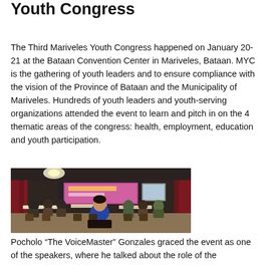Youth Congress
The Third Mariveles Youth Congress happened on January 20-21 at the Bataan Convention Center in Mariveles, Bataan. MYC is the gathering of youth leaders and to ensure compliance with the vision of the Province of Bataan and the Municipality of Mariveles. Hundreds of youth leaders and youth-serving organizations attended the event to learn and pitch in on the 4 thematic areas of the congress: health, employment, education and youth participation.
[Figure (photo): Indoor conference/event photo showing attendees seated at tables facing a stage with a banner, in a dimly lit hall with red curtains]
Pocholo “The VoiceMaster” Gonzales graced the event as one of the speakers, where he talked about the role of the